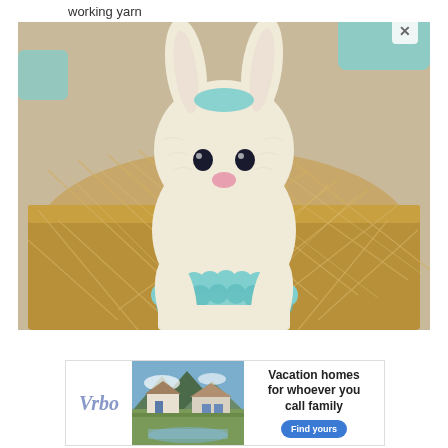working yarn
[Figure (photo): A crocheted white bunny amigurumi toy sitting in a basket of raffia straw, wearing a teal/mint colored crocheted ruffle collar. The bunny has black bead eyes and a pink stitched nose.]
[Figure (screenshot): Advertisement banner for Vrbo showing mountain vacation homes with text 'Vacation homes for whoever you call family' and a 'Find yours' button]